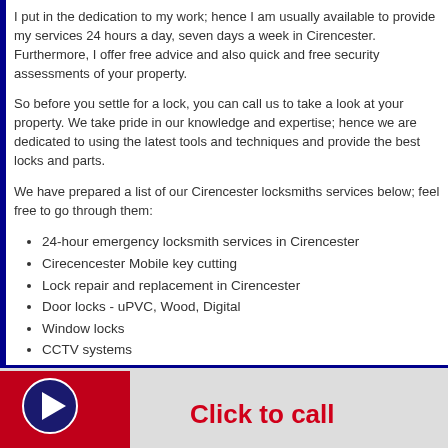I put in the dedication to my work; hence I am usually available to provide my services 24 hours a day, seven days a week in Cirencester. Furthermore, I offer free advice and also quick and free security assessments of your property.
So before you settle for a lock, you can call us to take a look at your property. We take pride in our knowledge and expertise; hence we are dedicated to using the latest tools and techniques and provide the best locks and parts.
We have prepared a list of our Cirencester locksmiths services below; feel free to go through them:
24-hour emergency locksmith services in Cirencester
Cirecencester Mobile key cutting
Lock repair and replacement in Cirencester
Door locks - uPVC, Wood, Digital
Window locks
CCTV systems
Alarms
Evictions
Re-securing
Post burglary repairs
Insurance approved locks
Entry gaining
Yale locks
Window boarding
Click to call